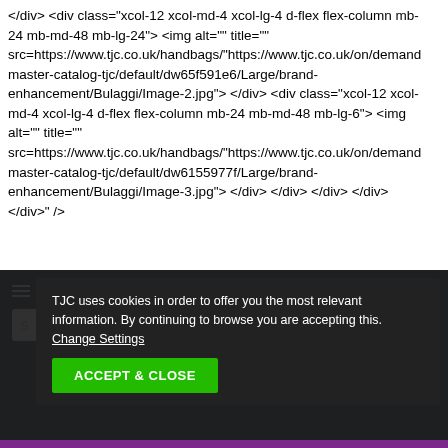</div> <div class="xcol-12 xcol-md-4 xcol-lg-4 d-flex flex-column mb-24 mb-md-48 mb-lg-24"> <img alt="" title="" src=https://www.tjc.co.uk/handbags/"https://www.tjc.co.uk/on/demand master-catalog-tjc/default/dw65f591e6/Large/brand-enhancement/Bulaggi/Image-2.jpg"> </div> <div class="xcol-12 xcol-md-4 xcol-lg-4 d-flex flex-column mb-24 mb-md-48 mb-lg-6"> <img alt="" title="" src=https://www.tjc.co.uk/handbags/"https://www.tjc.co.uk/on/demand master-catalog-tjc/default/dw6155977f/Large/brand-enhancement/Bulaggi/Image-3.jpg"> </div> </div> </div> </div> </div>" />
[Figure (screenshot): TJC website navigation bar with hamburger menu, TJC logo, and bag/search icons on dark background]
TJC uses cookies in order to offer you the most relevant information. By continuing to browse you are accepting this. Change Settings
ACCEPT & CLOSE